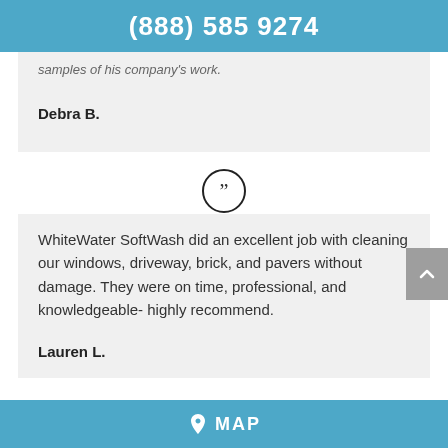(888) 585 9274
samples of his company's work.
Debra B.
WhiteWater SoftWash did an excellent job with cleaning our windows, driveway, brick, and pavers without damage. They were on time, professional, and knowledgeable- highly recommend.
Lauren L.
MAP